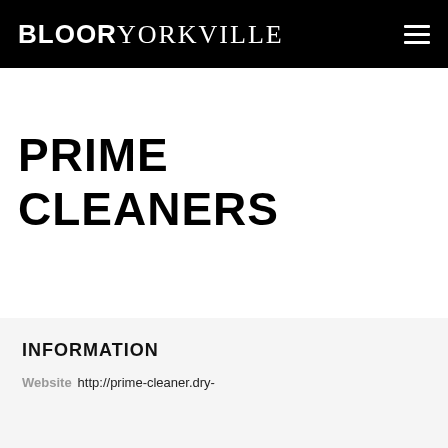BLOORYORKVILLE
PRIME CLEANERS
INFORMATION
Website  http://prime-cleaner.dry-